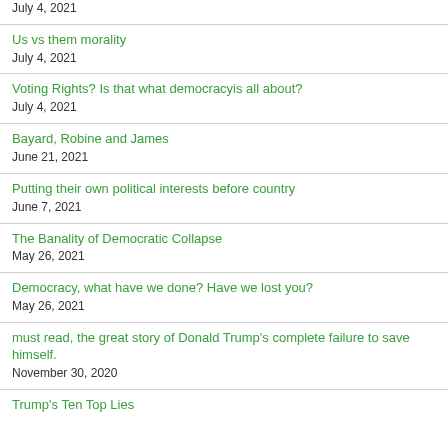July 4, 2021
Us vs them morality
July 4, 2021
Voting Rights? Is that what democracyis all about?
July 4, 2021
Bayard, Robine and James
June 21, 2021
Putting their own political interests before country
June 7, 2021
The Banality of Democratic Collapse
May 26, 2021
Democracy, what have we done? Have we lost you?
May 26, 2021
must read, the great story of Donald Trump's complete failure to save himself.
November 30, 2020
Trump's Ten Top Lies